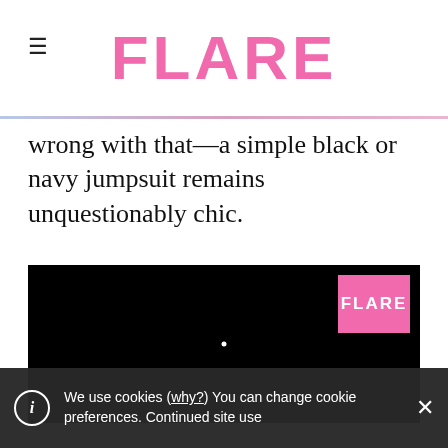FLARE
wrong with that—a simple black or navy jumpsuit remains unquestionably chic.
[Figure (screenshot): Black video player embed with pink FLARE logo badge in the top-right corner and a small white dot in the center]
We use cookies (why?) You can change cookie preferences. Continued site use